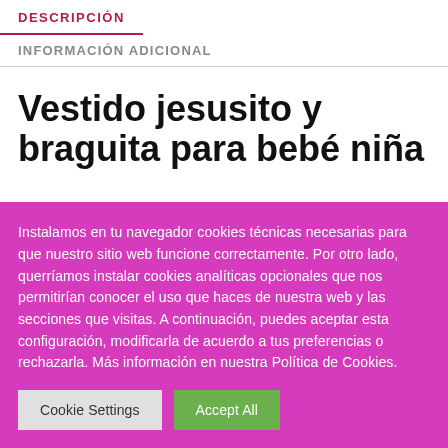DESCRIPCIÓN
INFORMACIÓN ADICIONAL
Vestido jesusito y braguita para bebé niña
Instalamos en tu navegador cookies técnicas necesarias para que nuestro sitio web funcione correctamente. Por otro lado, querríamos instalar cookies analíticas opcionales que nos permitirían conocer el uso que haces de nuestra web y las secciones que visitas. A continuación, puedes aceptar esta configuración, modificarla de acuerdo a tus preferencias o rechazarla. Más información en nuestra Política de Cookies.
Cookie Settings
Accept All